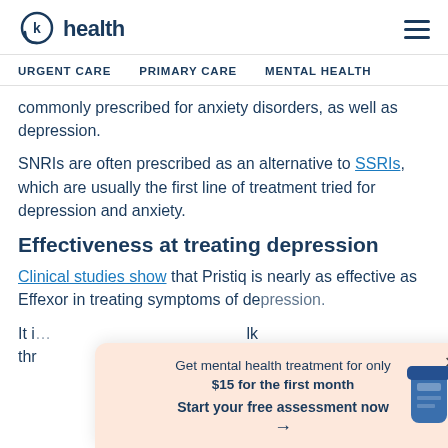k health | URGENT CARE  PRIMARY CARE  MENTAL HEALTH
commonly prescribed for anxiety disorders, as well as depression.
SNRIs are often prescribed as an alternative to SSRIs, which are usually the first line of treatment tried for depression and anxiety.
Effectiveness at treating depression
Clinical studies show that Pristiq is nearly as effective as Effexor in treating symptoms of depression.
It i... lk thr...
[Figure (screenshot): Popup/banner: 'Get mental health treatment for only $15 for the first month. Start your free assessment now →' with a pill bottle image on a peach background.]